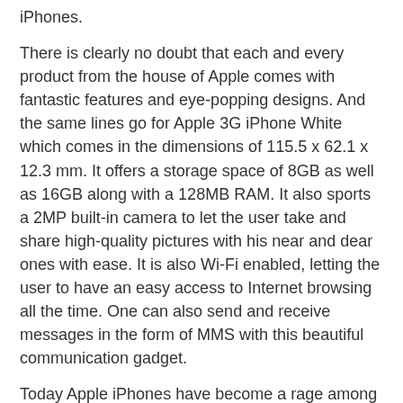iPhones.
There is clearly no doubt that each and every product from the house of Apple comes with fantastic features and eye-popping designs. And the same lines go for Apple 3G iPhone White which comes in the dimensions of 115.5 x 62.1 x 12.3 mm. It offers a storage space of 8GB as well as 16GB along with a 128MB RAM. It also sports a 2MP built-in camera to let the user take and share high-quality pictures with his near and dear ones with ease. It is also Wi-Fi enabled, letting the user to have an easy access to Internet browsing all the time. One can also send and receive messages in the form of MMS with this beautiful communication gadget.
Today Apple iPhones have become a rage among people from all walks of life. The device lets the user enjoy music, audio-books and videos with just a touch of finger. As the handset comes with a full QWERTY soft keyboard, sending and receiving messages becomes a real-fun, instead of a time-consuming exercise. This communication device also comes with Google Maps and iPhone's amazing Maps application which make any journey all the more easier and simpler.
Apple iPhone specification:
3.5-inch touchscreen display